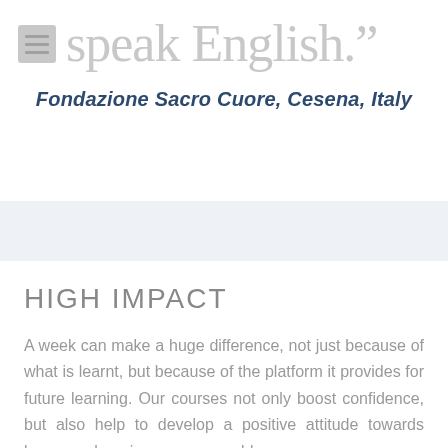speak English.”
Fondazione Sacro Cuore, Cesena, Italy
HIGH IMPACT
A week can make a huge difference, not just because of what is learnt, but because of the platform it provides for future learning. Our courses not only boost confidence, but also help to develop a positive attitude towards language learning – a memorable